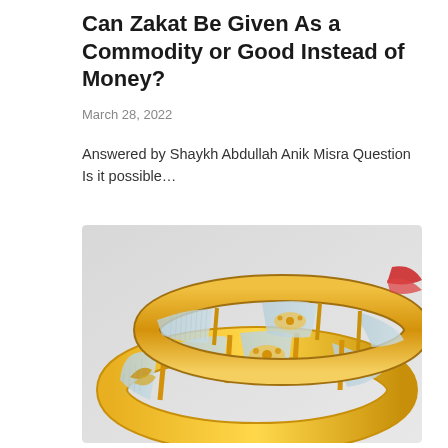Can Zakat Be Given As a Commodity or Good Instead of Money?
March 28, 2022
Answered by Shaykh Abdullah Anik Misra Question Is it possible…
[Figure (photo): Two gold and light blue enamel bangles/bracelets with floral and leaf designs, placed on a light gray background.]